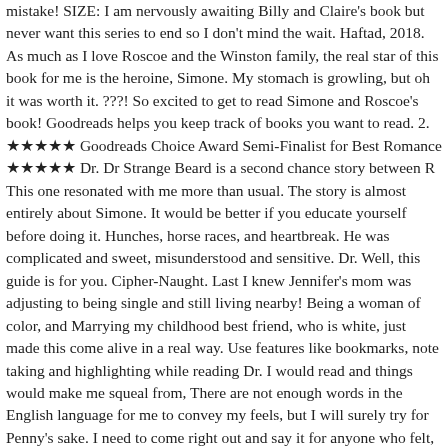mistake! SIZE: I am nervously awaiting Billy and Claire's book but never want this series to end so I don't mind the wait. Haftad, 2018. As much as I love Roscoe and the Winston family, the real star of this book for me is the heroine, Simone. My stomach is growling, but oh it was worth it. ???! So excited to get to read Simone and Roscoe's book! Goodreads helps you keep track of books you want to read. 2. ★★★★★ Goodreads Choice Award Semi-Finalist for Best Romance ★★★★★ Dr. Dr Strange Beard is a second chance story between R This one resonated with me more than usual. The story is almost entirely about Simone. It would be better if you educate yourself before doing it. Hunches, horse races, and heartbreak. He was complicated and sweet, misunderstood and sensitive. Dr. Well, this guide is for you. Cipher-Naught. Last I knew Jennifer's mom was adjusting to being single and still living nearby! Being a woman of color, and Marrying my childhood best friend, who is white, just made this come alive in a real way. Use features like bookmarks, note taking and highlighting while reading Dr. I would read and things would make me squeal from, There are not enough words in the English language for me to convey my feels, but I will surely try for Penny's sake. I need to come right out and say it for anyone who felt, or currently feels, the same way : if you are struggling with the start of DR. Strange Beard can be read as a stand-alone, but there is an over-arching storyline so I think you should just start at the beginning. He'd also like to forget her entirely, but that's never going to happen. Dr. Strange Beard